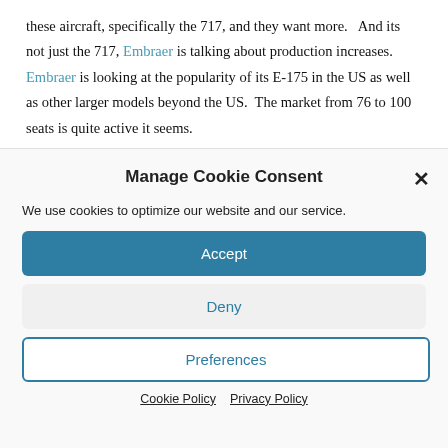these aircraft, specifically the 717, and they want more.   And its not just the 717, Embraer is talking about production increases.  Embraer is looking at the popularity of its E-175 in the US as well as other larger models beyond the US.  The market from 76 to 100 seats is quite active it seems.
Manage Cookie Consent
We use cookies to optimize our website and our service.
Accept
Deny
Preferences
Cookie Policy   Privacy Policy